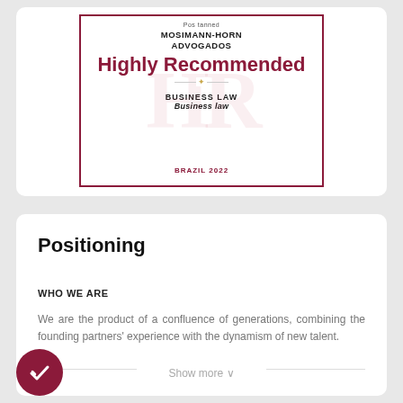[Figure (other): Award certificate image showing 'Highly Recommended' badge for Mosimann-Horn Advogados, Business Law, Brazil 2022]
Positioning
WHO WE ARE
We are the product of a confluence of generations, combining the founding partners' experience with the dynamism of new talent.